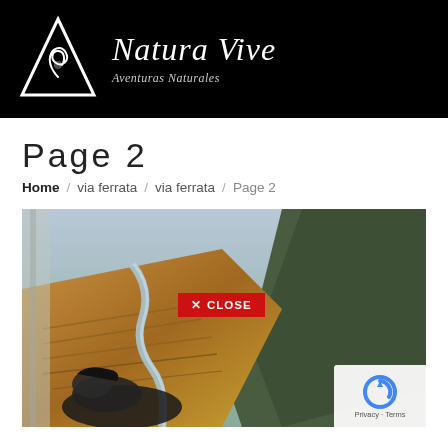[Figure (logo): Natura Vive logo with mountain/triangle graphic and text 'Natura Vive - Aventuras Naturales' on black background]
Page 2
Home / via ferrata / via ferrata / Page 2
[Figure (photo): Aerial/vertical photo of a person on a via ferrata with a valley, river, and vineyard terraces visible far below. A red CLOSE button overlay is visible in the center.]